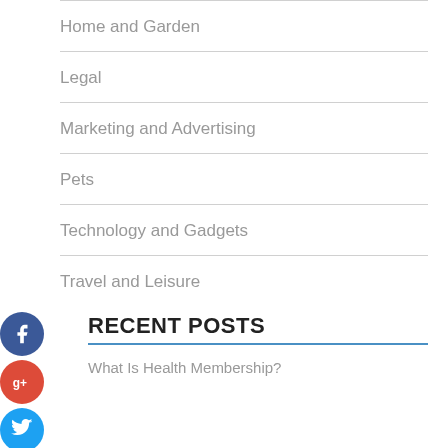Home and Garden
Legal
Marketing and Advertising
Pets
Technology and Gadgets
Travel and Leisure
[Figure (infographic): Social media share buttons: Facebook (blue circle), Google+ (red circle), Twitter (blue circle), Pinterest/add (dark circle)]
RECENT POSTS
What Is Health Membership?